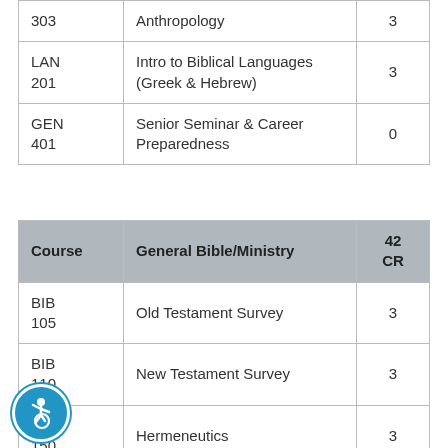| Course |  | CR |
| --- | --- | --- |
| 303 | Anthropology | 3 |
| LAN 201 | Intro to Biblical Languages (Greek & Hebrew) | 3 |
| GEN 401 | Senior Seminar & Career Preparedness | 0 |
| Course | General Bible/Ministry | 42 CR |
| --- | --- | --- |
| BIB 105 | Old Testament Survey | 3 |
| BIB 110 | New Testament Survey | 3 |
| BIB 150 | Hermeneutics | 3 |